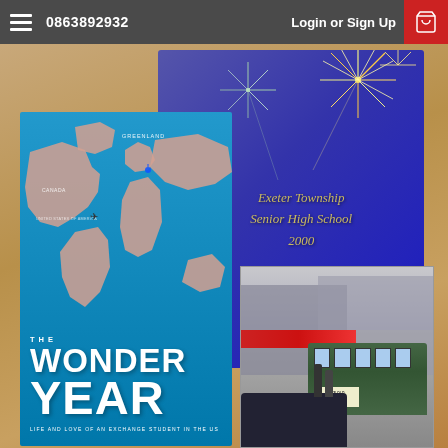☰  0863892932   Login or Sign Up  🛒
[Figure (photo): Composite photo showing: a blue 'The Wonder Year – Life and Love of an Exchange Student in the US' book with a world map cover in the foreground left; a purple 'Exeter Township Senior High School 2000' yearbook in the background center; and a street photo of a green bus at bottom right. All items are resting on a wooden table surface.]